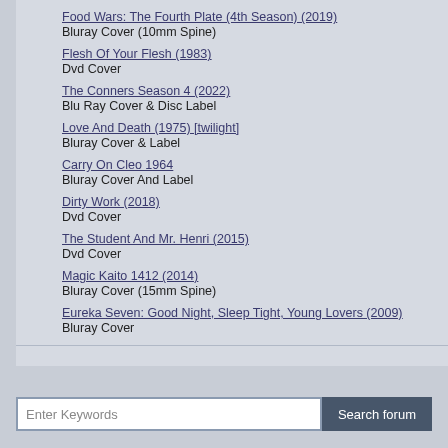Food Wars: The Fourth Plate (4th Season) (2019)
Bluray Cover (10mm Spine)
Flesh Of Your Flesh (1983)
Dvd Cover
The Conners Season 4 (2022)
Blu Ray Cover & Disc Label
Love And Death (1975) [twilight]
Bluray Cover & Label
Carry On Cleo 1964
Bluray Cover And Label
Dirty Work (2018)
Dvd Cover
The Student And Mr. Henri (2015)
Dvd Cover
Magic Kaito 1412 (2014)
Bluray Cover (15mm Spine)
Eureka Seven: Good Night, Sleep Tight, Young Lovers (2009)
Bluray Cover